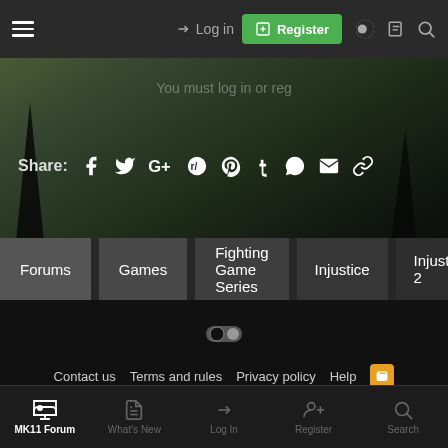Log in | Register
You must log in or reg...
Share:
Forums > Games > Fighting Game Series > Injustice > Injustice 2 > Inj
Contact us   Terms and rules   Privacy policy   Help
Forum software by XenForo™ © 2010-2019 XenForo Ltd. | Add-ons by ThemeHouse
MK11 Forum   What's New   Log In   Register   Search